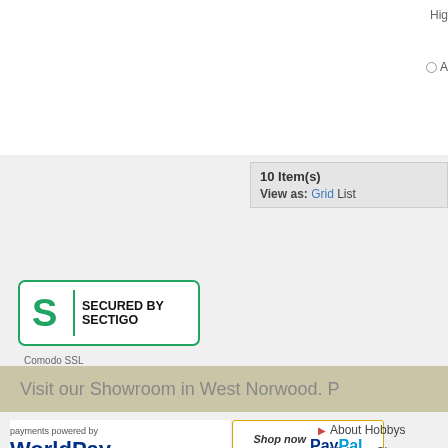Hig
A
10 Item(s)
View as: Grid  List
[Figure (logo): Secured by Sectigo badge with green S logo and text SECURED BY SECTIGO]
Comodo SSL
Visit our Showroom in West Norwood. P
[Figure (logo): payments powered by WorldPay logo]
[Figure (logo): Shop now using PayPal button]
[Figure (logo): VISA logo]
[Figure (logo): VISA Electron logo]
[Figure (logo): MasterCard logo]
[Figure (logo): Maestro logo]
[Figure (logo): JCB logo]
About Hobbys
Visit our Showroo
Company Informa
Search Terms | Advanced Search | Contact Us | Site Map
© 2017 Hobbys.